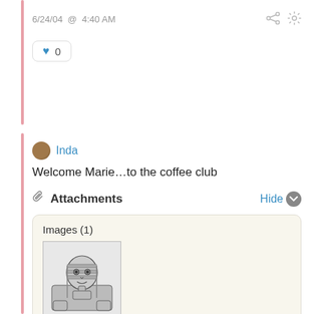6/24/04 @ 4:40 AM
♥ 0
Inda
Welcome Marie…to the coffee club
📎 Attachments   Hide ⌄
Images (1)
[Figure (illustration): A black and white illustration of a sphinx (Egyptian pharaoh figure) with text below it reading 'Marie, borrow about this']
6/26/04 @ 6:49 PM *
♥ 0